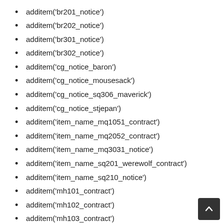additem('br201_notice')
additem('br202_notice')
additem('br301_notice')
additem('br302_notice')
additem('cg_notice_baron')
additem('cg_notice_mousesack')
additem('cg_notice_sq306_maverick')
additem('cg_notice_stjepan')
additem('item_name_mq1051_contract')
additem('item_name_mq2052_contract')
additem('item_name_mq3031_notice')
additem('item_name_sq201_werewolf_contract')
additem('item_name_sq210_notice')
additem('mh101_contract')
additem('mh102_contract')
additem('mh103_contract')
additem('mh104_contract')
additem('mh106_contract')
additem('mh107_contract')
additem('mh108_contract')